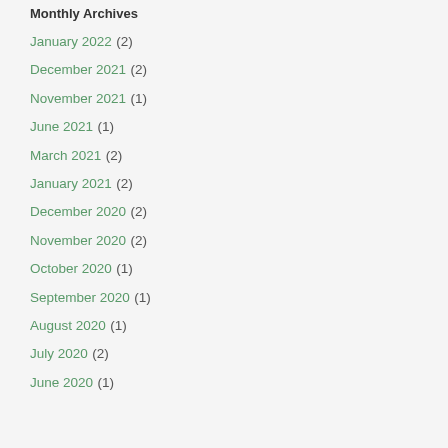Monthly Archives
January 2022 (2)
December 2021 (2)
November 2021 (1)
June 2021 (1)
March 2021 (2)
January 2021 (2)
December 2020 (2)
November 2020 (2)
October 2020 (1)
September 2020 (1)
August 2020 (1)
July 2020 (2)
June 2020 (1)